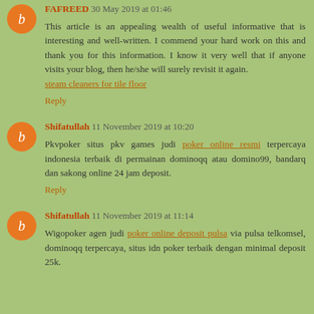FAFREED 30 May 2019 at 01:46
This article is an appealing wealth of useful informative that is interesting and well-written. I commend your hard work on this and thank you for this information. I know it very well that if anyone visits your blog, then he/she will surely revisit it again. steam cleaners for tile floor
Reply
Shifatullah 11 November 2019 at 10:20
Pkvpoker situs pkv games judi poker online resmi terpercaya indonesia terbaik di permainan dominoqq atau domino99, bandarq dan sakong online 24 jam deposit.
Reply
Shifatullah 11 November 2019 at 11:14
Wigopoker agen judi poker online deposit pulsa via pulsa telkomsel, dominoqq terpercaya, situs idn poker terbaik dengan minimal deposit 25k.